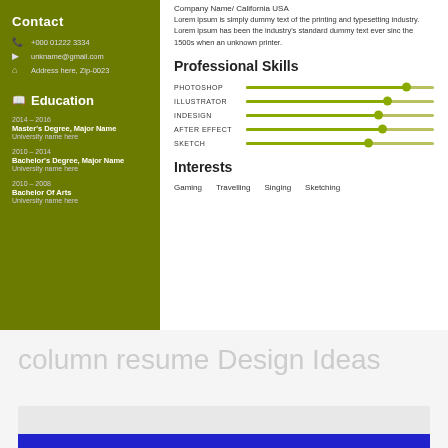Contact
+000 01222 3334
unkname@gmail.com
Address here, Zip-0023
Education
2014 – 2016
Master's Degree, Major Name
University name here
2010 – 2014
Bachelor's Degree, Major Name
University name here
2010 – 2008
Bachelor Of Arts
University name here
Company Name/ California USA
Lorem ipsum is simply dummy text of the printing and typesetting industry. Lorem ipsum has been the industry's standard dummy text ever sinc the 1500s when an unknown printer.
Professional Skills
[Figure (infographic): Skill bars for PHOTOSHOP, ILLUSTRATOR, INDESIGN, AFTER EFFECT, SKETCH shown as slider/progress bars with olive green fill and dot indicator]
Interests
Gaming    Travelling    Singing    Sketching
column resume Design Ideas
[Figure (screenshot): Preview of another resume template with light gray background and blue bar at bottom]